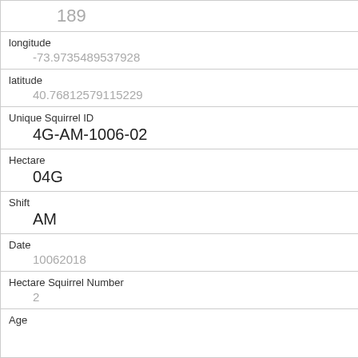| 189 |
| longitude | -73.9735489537928 |
| latitude | 40.76812579115229 |
| Unique Squirrel ID | 4G-AM-1006-02 |
| Hectare | 04G |
| Shift | AM |
| Date | 10062018 |
| Hectare Squirrel Number | 2 |
| Age |  |
| Primary Fur Color | Gray |
| Highlight Fur Color | White |